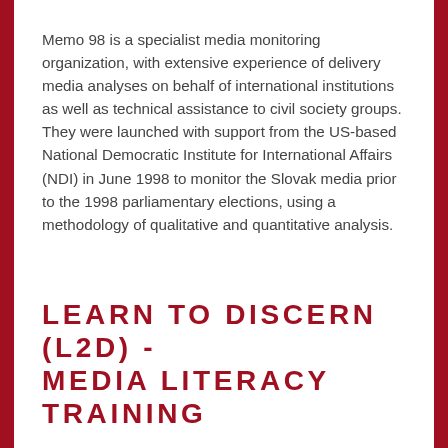Memo 98 is a specialist media monitoring organization, with extensive experience of delivery media analyses on behalf of international institutions as well as technical assistance to civil society groups. They were launched with support from the US-based National Democratic Institute for International Affairs (NDI) in June 1998 to monitor the Slovak media prior to the 1998 parliamentary elections, using a methodology of qualitative and quantitative analysis.
LEARN TO DISCERN (L2D) - MEDIA LITERACY TRAINING